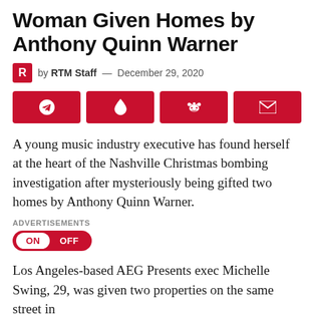Woman Given Homes by Anthony Quinn Warner
by RTM Staff — December 29, 2020
[Figure (other): Four red social share buttons: Telegram, Pinterest/droplet, Reddit, Email]
A young music industry executive has found herself at the heart of the Nashville Christmas bombing investigation after mysteriously being gifted two homes by Anthony Quinn Warner.
ADVERTISEMENTS
ON  OFF
Los Angeles-based AEG Presents exec Michelle Swing, 29, was given two properties on the same street in